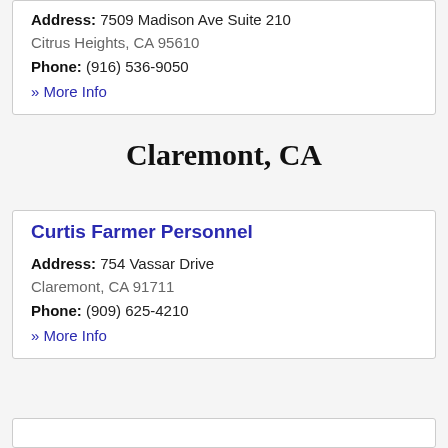Address: 7509 Madison Ave Suite 210
Citrus Heights, CA 95610
Phone: (916) 536-9050
» More Info
Claremont, CA
Curtis Farmer Personnel
Address: 754 Vassar Drive
Claremont, CA 91711
Phone: (909) 625-4210
» More Info